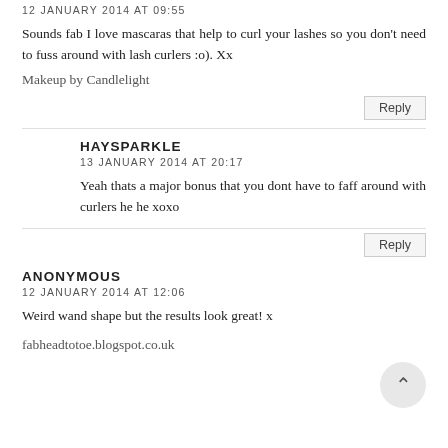12 JANUARY 2014 AT 09:55
Sounds fab I love mascaras that help to curl your lashes so you don't need to fuss around with lash curlers :o). Xx
Makeup by Candlelight
Reply
HAYSPARKLE
13 JANUARY 2014 AT 20:17
Yeah thats a major bonus that you dont have to faff around with curlers he he xoxo
Reply
ANONYMOUS
12 JANUARY 2014 AT 12:06
Weird wand shape but the results look great! x
fabheadtotoe.blogspot.co.uk